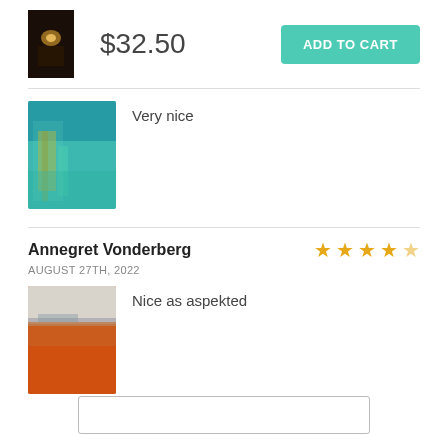[Figure (photo): Small thumbnail of a dark painting with warm light]
$32.50
ADD TO CART
Very nice
[Figure (photo): Abstract teal/blue painting with green and gold drip textures]
Annegret Vonderberg
AUGUST 27TH, 2022
★★★★★ (4 stars out of 5)
Nice as aspekted
[Figure (photo): Abstract painting with orange/red lower half and light grey upper portion with horizon stripe]